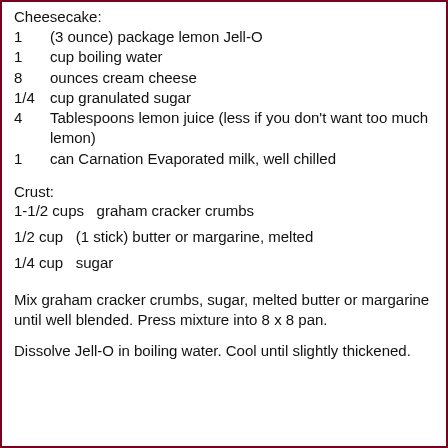Cheesecake:
1    (3 ounce) package lemon Jell-O
1    cup boiling water
8    ounces cream cheese
1/4  cup granulated sugar
4    Tablespoons lemon juice (less if you don't want too much lemon)
1    can Carnation Evaporated milk, well chilled
Crust:
1-1/2 cups  graham cracker crumbs
1/2 cup  (1 stick) butter or margarine, melted
1/4 cup  sugar
Mix graham cracker crumbs, sugar, melted butter or margarine until well blended. Press mixture into 8 x 8 pan.
Dissolve Jell-O in boiling water. Cool until slightly thickened.